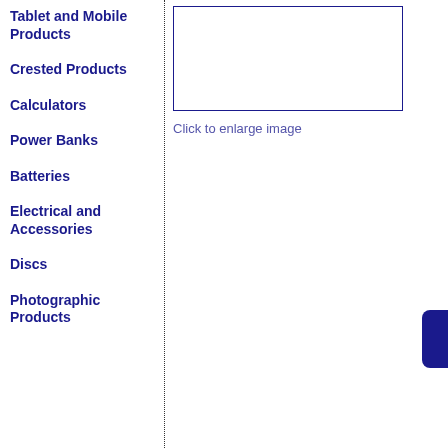Tablet and Mobile Products
Crested Products
Calculators
Power Banks
Batteries
Electrical and Accessories
Discs
Photographic Products
[Figure (other): Product image placeholder box with border]
Click to enlarge image